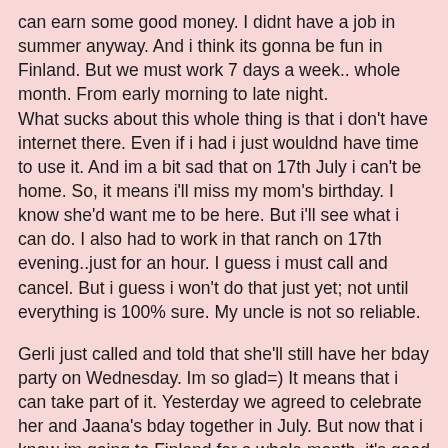can earn some good money. I didnt have a job in summer anyway. And i think its gonna be fun in Finland. But we must work 7 days a week.. whole month. From early morning to late night.
What sucks about this whole thing is that i don't have internet there. Even if i had i just wouldnd have time to use it. And im a bit sad that on 17th July i can't be home. So, it means i'll miss my mom's birthday. I know she'd want me to be here. But i'll see what i can do. I also had to work in that ranch on 17th evening..just for an hour. I guess i must call and cancel. But i guess i won't do that just yet; not until everything is 100% sure. My uncle is not so reliable.
Gerli just called and told that she'll still have her bday party on Wednesday. Im so glad=) It means that i can take part of it. Yesterday we agreed to celebrate her and Jaana's bday together in July. But now that i know im going to Finland for a whole month, it's good she decided to celebrate it still this week:) I can't wait to see my chicks:)
Btw, i noticed today that if im sick i crave for porridge. But when i was younger i always craved for omelet. Actually, i